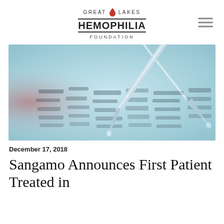GREAT LAKES HEMOPHILIA FOUNDATION
[Figure (photo): A scientific pipette dropping liquid onto a DNA gel electrophoresis plate, with a blue and blurred laboratory background.]
December 17, 2018
Sangamo Announces First Patient Treated in